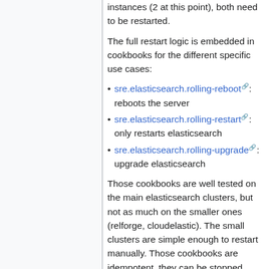instances (2 at this point), both need to be restarted.
The full restart logic is embedded in cookbooks for the different specific use cases:
sre.elasticsearch.rolling-reboot: reboots the server
sre.elasticsearch.rolling-restart: only restarts elasticsearch
sre.elasticsearch.rolling-upgrade: upgrade elasticsearch
Those cookbooks are well tested on the main elasticsearch clusters, but not as much on the smaller ones (relforge, cloudelastic). The small clusters are simple enough to restart manually. Those cookbooks are idempotent, they can be stopped and restarted, servers already restarted will be ignored by the